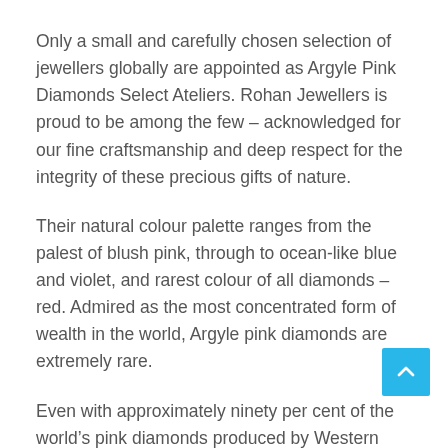Only a small and carefully chosen selection of jewellers globally are appointed as Argyle Pink Diamonds Select Ateliers. Rohan Jewellers is proud to be among the few – acknowledged for our fine craftsmanship and deep respect for the integrity of these precious gifts of nature.
Their natural colour palette ranges from the palest of blush pink, through to ocean-like blue and violet, and rarest colour of all diamonds – red. Admired as the most concentrated form of wealth in the world, Argyle pink diamonds are extremely rare.
Even with approximately ninety per cent of the world's pink diamonds produced by Western Australia's Argyle Diamond Mine, a whole year's wor of production of stones over half a carat would fit in